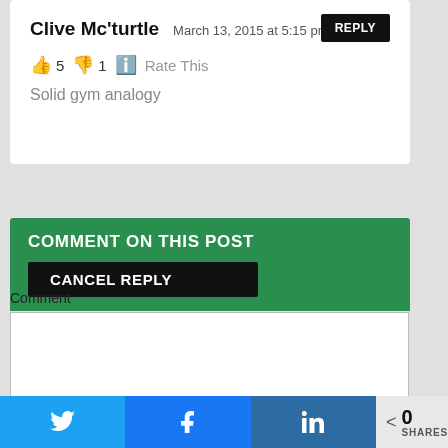Clive Mc'turtle   March 13, 2015 at 5:15 pm
REPLY
👍 5 👎 1 ℹ️ Rate This
Solid gym analogy
COMMENT ON THIS POST
CANCEL REPLY
Comment
[Figure (screenshot): Empty comment textarea input box]
[Figure (infographic): Social share bar with Twitter, Facebook, LinkedIn buttons and share count of 0]